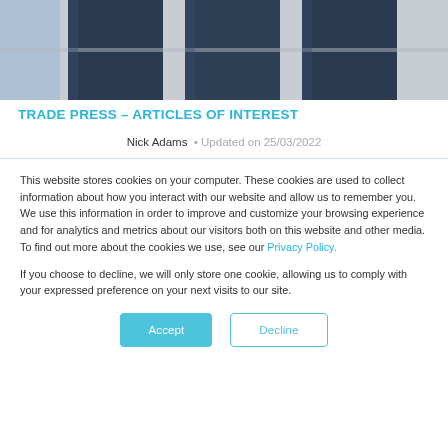[Figure (photo): Exterior of a modern building with dark blue windows and grey facade panels, cropped at top]
TRADE PRESS – ARTICLES OF INTEREST
Nick Adams · Updated on 25/03/2022
This website stores cookies on your computer. These cookies are used to collect information about how you interact with our website and allow us to remember you. We use this information in order to improve and customize your browsing experience and for analytics and metrics about our visitors both on this website and other media. To find out more about the cookies we use, see our Privacy Policy.

If you choose to decline, we will only store one cookie, allowing us to comply with your expressed preference on your next visits to our site.